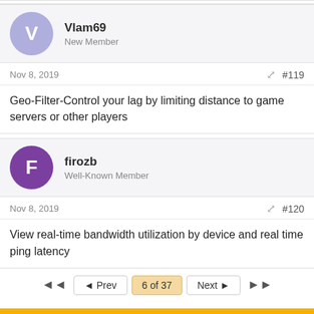Vlam69
New Member
Nov 8, 2019
#119
Geo-Filter-Control your lag by limiting distance to game servers or other players
firozb
Well-Known Member
Nov 8, 2019
#120
View real-time bandwidth utilization by device and real time ping latency
6 of 37